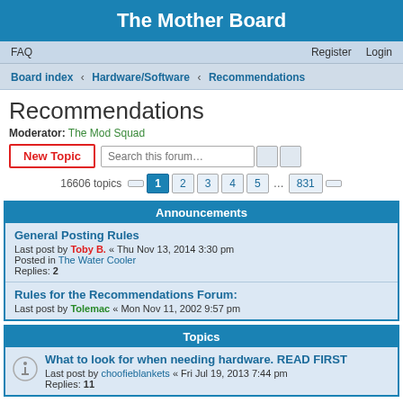The Mother Board
FAQ  Register  Login
Board index › Hardware/Software › Recommendations
Recommendations
Moderator: The Mod Squad
New Topic  Search this forum…  16606 topics  1 2 3 4 5 ... 831
Announcements
General Posting Rules
Last post by Toby B. « Thu Nov 13, 2014 3:30 pm
Posted in The Water Cooler
Replies: 2
Rules for the Recommendations Forum:
Last post by Tolemac « Mon Nov 11, 2002 9:57 pm
Topics
What to look for when needing hardware. READ FIRST
Last post by choofieblankets « Fri Jul 19, 2013 7:44 pm
Replies: 11